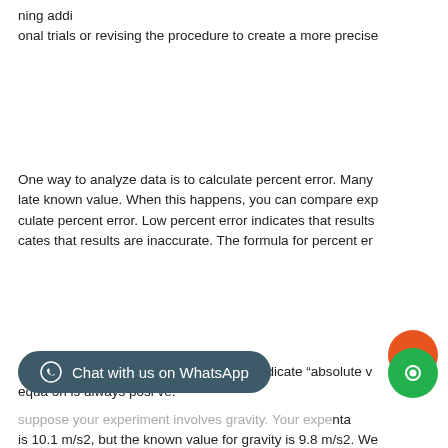ning addi
onal trials or revising the procedure to create a more precise
One way to analyze data is to calculate percent error. Many late known value. When this happens, you can compare exp culate percent error. Low percent error indicates that results cates that results are inaccurate. The formula for percent er
Note that the brackets in the numerator indicate “absolute v equa on is always posi ve.
suppose your experiment involves gravity. Your expe nta is 10.1 m/s2, but the known value for gravity is 9.8 m/s2. We